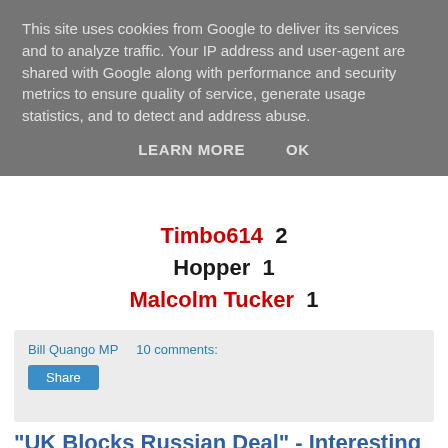This site uses cookies from Google to deliver its services and to analyze traffic. Your IP address and user-agent are shared with Google along with performance and security metrics to ensure quality of service, generate usage statistics, and to detect and address abuse.
LEARN MORE   OK
Timbo614  2
Hopper  1
Malcolm Tucker  1
Bill Quango MP    10 comments:
Share
"UK Blocks Russian Deal" - Interesting
The issue of sanctions against Russia over Ukraine has